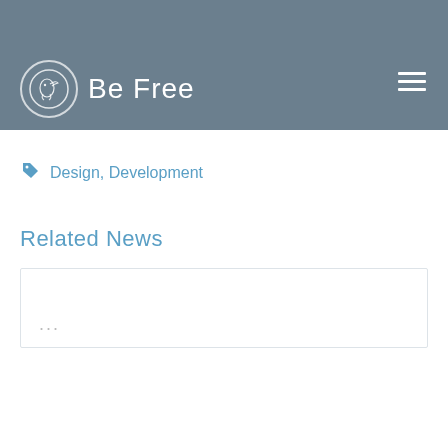Be Free
better than those in the market, you're likely to attract customers of your product. Competition analysis is ... competitor products for a few days to understand how they function, what they lack, before you put the features here.
Design, Development
Related News
[Figure (other): News card placeholder with three dots indicator]